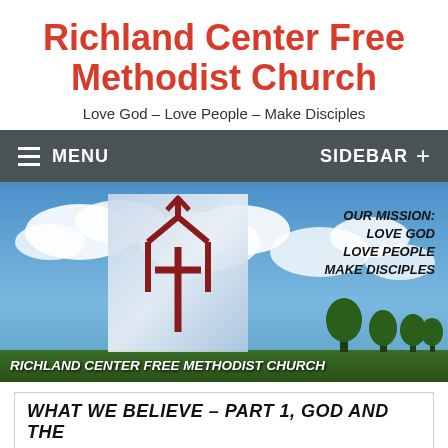Richland Center Free Methodist Church
Love God – Love People – Make Disciples
[Figure (screenshot): Navigation bar with dark gray background showing hamburger menu icon and MENU text on the left, and SIDEBAR + on the right]
[Figure (photo): Church banner image with blue sky and clouds background. Center shows church logo (house/cross symbol on silvery background). Right side shows mission text: OUR MISSION: LOVE GOD LOVE PEOPLE MAKE DISCIPLES. Bottom left reads: RICHLAND CENTER FREE METHODIST CHURCH]
WHAT WE BELIEVE – PART 1, GOD AND THE